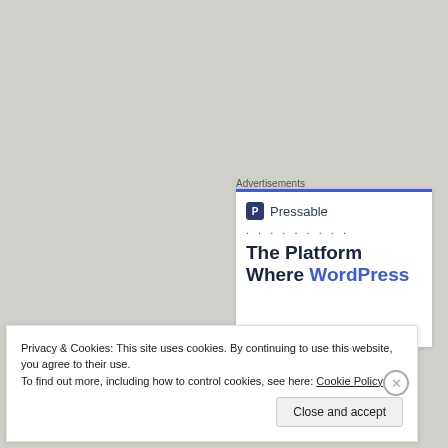Advertisements
[Figure (screenshot): Pressable advertisement banner showing logo with 'P' icon, dotted line, and headline 'The Platform Where WordPress' in dark navy and blue colors]
NEWS
Privacy & Cookies: This site uses cookies. By continuing to use this website, you agree to their use.
To find out more, including how to control cookies, see here: Cookie Policy
Close and accept